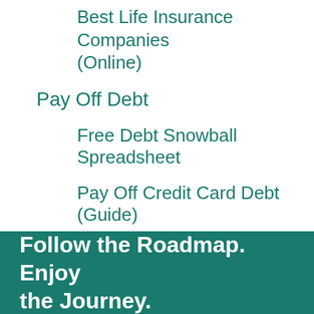Best Life Insurance Companies (Online)
Pay Off Debt
Free Debt Snowball Spreadsheet
Pay Off Credit Card Debt (Guide)
Destroy Your Car Payment (Guide)
Investing
Top 10 Investing Apps of 2022
Follow the Roadmap. Enjoy the Journey.